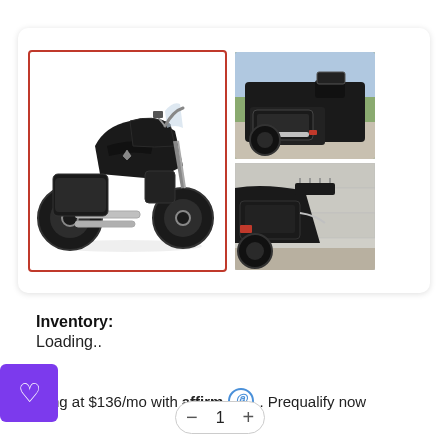[Figure (photo): Gallery of a black motorcycle. Main large image with red border showing full side view of black touring motorcycle on white background. Two smaller thumbnail photos: one showing rear saddlebag and seat outdoors, another showing rear quarter panel in garage.]
Inventory: Loading..
Starting at $136/mo with affirm. Prequalify now
[Figure (other): Purple favorite/heart button at bottom left]
[Figure (other): Quantity selector control showing minus, 1, plus]